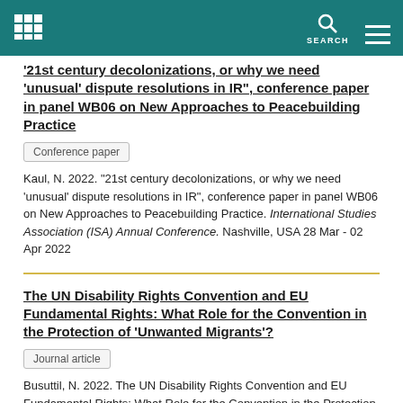SEARCH
'21st century decolonizations, or why we need 'unusual' dispute resolutions in IR", conference paper in panel WB06 on New Approaches to Peacebuilding Practice
Conference paper
Kaul, N. 2022. “21st century decolonizations, or why we need 'unusual' dispute resolutions in IR”, conference paper in panel WB06 on New Approaches to Peacebuilding Practice. International Studies Association (ISA) Annual Conference. Nashville, USA 28 Mar - 02 Apr 2022
The UN Disability Rights Convention and EU Fundamental Rights: What Role for the Convention in the Protection of ‘Unwanted Migrants’?
Journal article
Busuttil, N. 2022. The UN Disability Rights Convention and EU Fundamental Rights: What Role for the Convention in the Protection of ‘Unwanted Migrants’? International Community